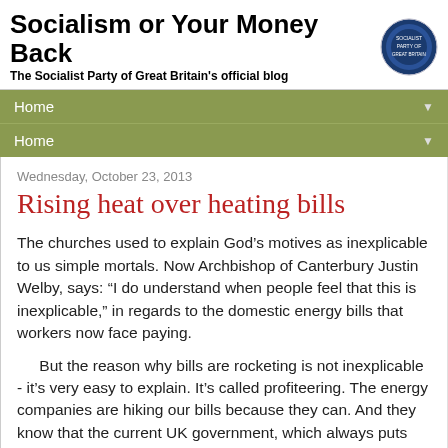Socialism or Your Money Back
The Socialist Party of Great Britain's official blog
Home
Home
Wednesday, October 23, 2013
Rising heat over heating bills
The churches used to explain God’s motives as inexplicable to us simple mortals. Now Archbishop of Canterbury Justin Welby, says: “I do understand when people feel that this is inexplicable,” in regards to the domestic energy bills that workers now face paying.
But the reason why bills are rocketing is not inexplicable - it’s very easy to explain. It’s called profiteering. The energy companies are hiking our bills because they can. And they know that the current UK government, which always puts profits before people, won’t do anything to stop them. After